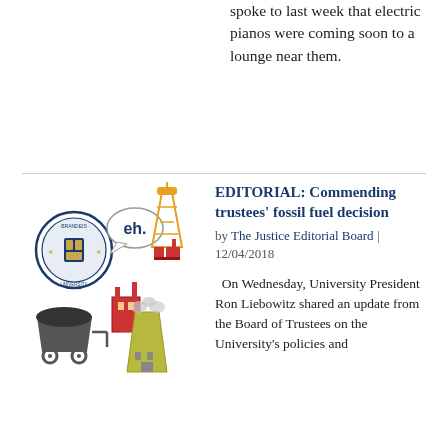spoke to last week that electric pianos were coming soon to a lounge near them.
[Figure (illustration): Collage illustration showing a university seal/logo, a speech bubble with 'eh.', an oil derrick/pump jack, industrial buildings with smokestacks, a coal cart, and a cooling tower with smoke — representing fossil fuel divestment topic.]
EDITORIAL: Commending trustees' fossil fuel decision
by The Justice Editorial Board | 12/04/2018
On Wednesday, University President Ron Liebowitz shared an update from the Board of Trustees on the University's policies and